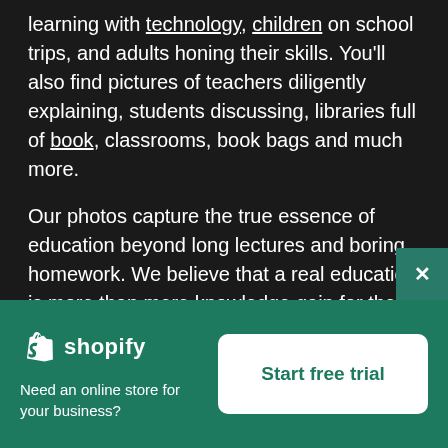learning with technology, children on school trips, and adults honing their skills. You'll also find pictures of teachers diligently explaining, students discussing, libraries full of book, classrooms, book bags and much more.
Our photos capture the true essence of education beyond long lectures and boring homework. We believe that a real education is more than mere knowledge gain for the sake of it. Rather, education puts life into perspective, builds opinions and viewpoints, and prepares you to be an active citizen
[Figure (logo): Shopify logo with shopping bag icon and wordmark 'shopify' in white on teal background]
Need an online store for your business?
Start free trial